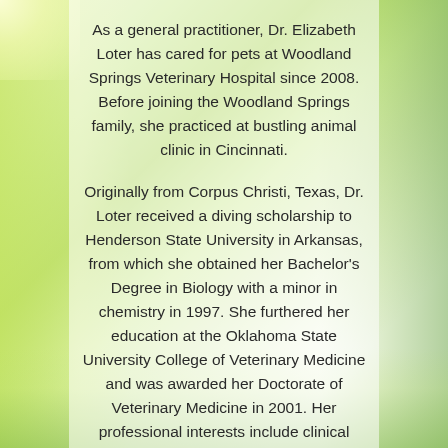As a general practitioner, Dr. Elizabeth Loter has cared for pets at Woodland Springs Veterinary Hospital since 2008. Before joining the Woodland Springs family, she practiced at bustling animal clinic in Cincinnati.
Originally from Corpus Christi, Texas, Dr. Loter received a diving scholarship to Henderson State University in Arkansas, from which she obtained her Bachelor's Degree in Biology with a minor in chemistry in 1997. She furthered her education at the Oklahoma State University College of Veterinary Medicine and was awarded her Doctorate of Veterinary Medicine in 2001. Her professional interests include clinical pathology, dermatology and soft-tissue surgery.